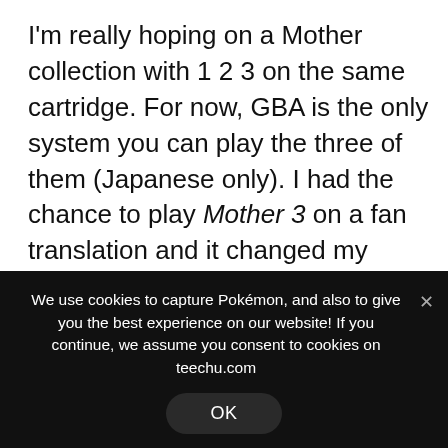I'm really hoping on a Mother collection with 1 2 3 on the same cartridge. For now, GBA is the only system you can play the three of them (Japanese only). I had the chance to play Mother 3 on a fan translation and it changed my vision of gaming. Yes, it really changed me as a gamer. The story was so good and so way out of its era. I strongly recommend everyone to at least try it. It's my 3rd best RPG ever.

I do hope on a rebirth of the Golden Sun franchise. The
We use cookies to capture Pokémon, and also to give you the best experience on our website! If you continue, we assume you consent to cookies on teechu.com
OK